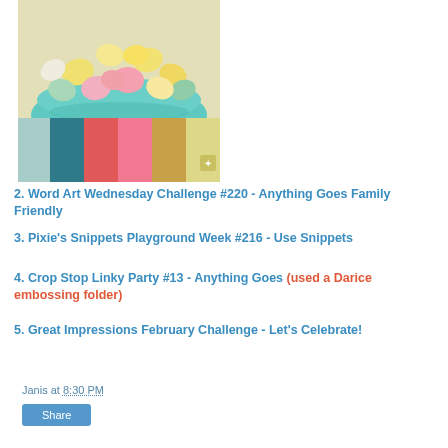[Figure (photo): Photo of colorful Easter egg candies in a teal bowl, above a color palette showing swatches of light teal, dark teal, coral red, pink, gold/tan, and pale yellow.]
2. Word Art Wednesday Challenge #220 - Anything Goes Family Friendly
3. Pixie's Snippets Playground Week #216 - Use Snippets
4. Crop Stop Linky Party #13 - Anything Goes (used a Darice embossing folder)
5. Great Impressions February Challenge - Let's Celebrate!
Janis at 8:30 PM
Share